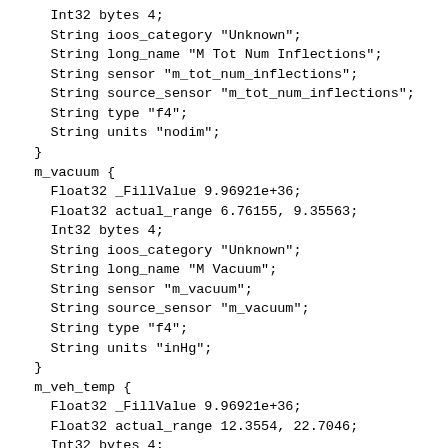Int32 bytes 4;
    String ioos_category "Unknown";
    String long_name "M Tot Num Inflections";
    String sensor "m_tot_num_inflections";
    String source_sensor "m_tot_num_inflections";
    String type "f4";
    String units "nodim";
  }
  m_vacuum {
    Float32 _FillValue 9.96921e+36;
    Float32 actual_range 6.76155, 9.35563;
    Int32 bytes 4;
    String ioos_category "Unknown";
    String long_name "M Vacuum";
    String sensor "m_vacuum";
    String source_sensor "m_vacuum";
    String type "f4";
    String units "inHg";
  }
  m_veh_temp {
    Float32 _FillValue 9.96921e+36;
    Float32 actual_range 12.3554, 22.7046;
    Int32 bytes 4;
    String ioos_category "Unknown";
    String long_name "M Veh Temp";
    String sensor "m_veh_temp";